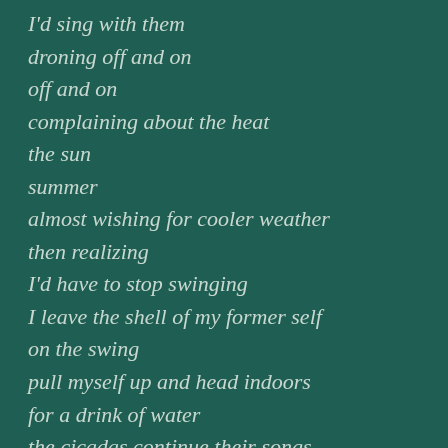I'd sing with them
droning off and on
off and on
complaining about the heat
the sun
summer
almost wishing for cooler weather
then realizing
I'd have to stop swinging
I leave the shell of my former self
on the swing
pull myself up and head indoors
for a drink of water
the cicadas continue their songs
reminding us